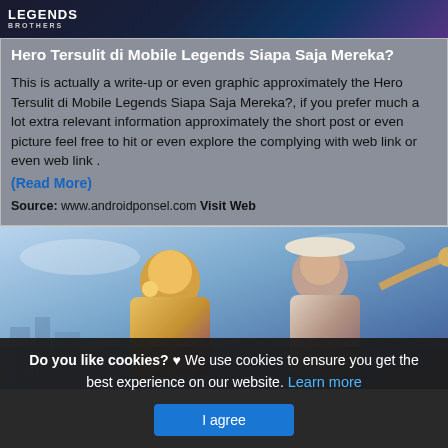[Figure (screenshot): Mobile Legends game logo banner with dark blue/purple gradient background]
Hero Tersulit di Mobile Legends Siapa Saja Mereka?
This is actually a write-up or even graphic approximately the Hero Tersulit di Mobile Legends Siapa Saja Mereka?, if you prefer much a lot extra relevant information approximately the short post or even picture feel free to hit or even explore the complying with web link or even web link .
(Read More)
Source: www.androidponsel.com Visit Web
[Figure (screenshot): Mobile Legends game artwork showing two female hero characters in action poses against a blue sky background]
Do you like cookies? ♥ We use cookies to ensure you get the best experience on our website. Learn more
I agree